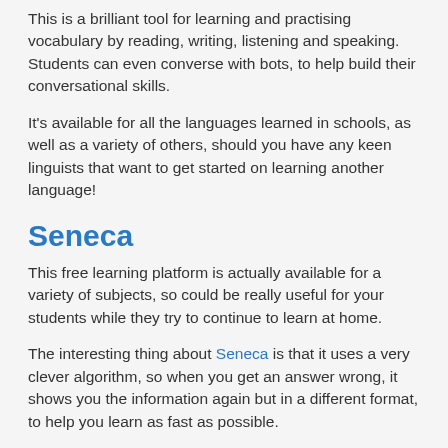This is a brilliant tool for learning and practising vocabulary by reading, writing, listening and speaking. Students can even converse with bots, to help build their conversational skills.
It's available for all the languages learned in schools, as well as a variety of others, should you have any keen linguists that want to get started on learning another language!
Seneca
This free learning platform is actually available for a variety of subjects, so could be really useful for your students while they try to continue to learn at home.
The interesting thing about Seneca is that it uses a very clever algorithm, so when you get an answer wrong, it shows you the information again but in a different format, to help you learn as fast as possible.